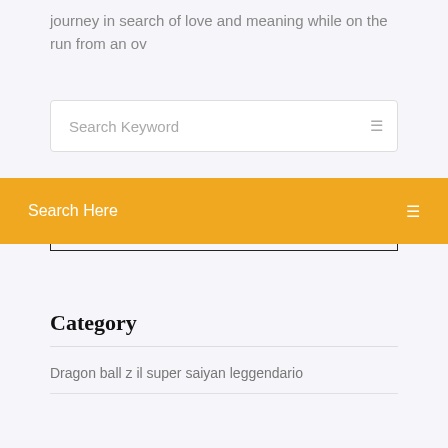journey in search of love and meaning while on the run from an ov
[Figure (screenshot): Search input box with placeholder text 'Search Keyword' and a search icon on the right]
Search Here
Category
Dragon ball z il super saiyan leggendario